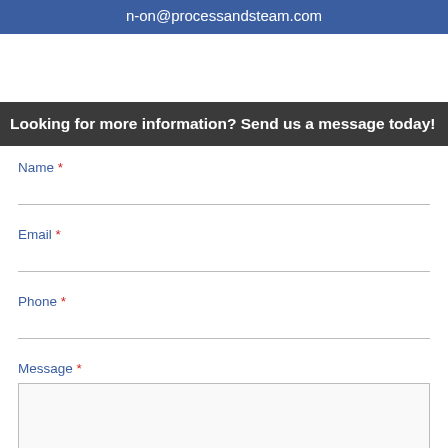n-on@processandsteam.com
Looking for more information? Send us a message today!
Name *
Email *
Phone *
Message *